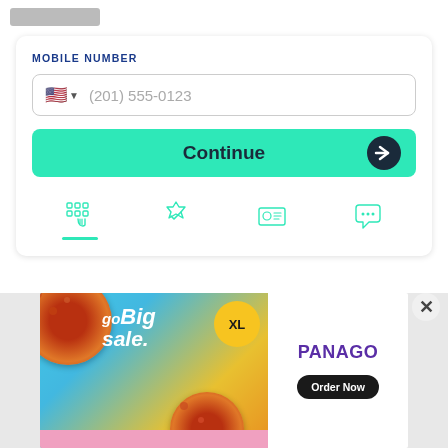[Figure (screenshot): Mobile app UI screenshot showing a phone number input form with MOBILE NUMBER label, a phone input field with US flag and placeholder (201) 555-0123, a teal Continue button, and a tab icon row at the bottom. Below is a Panago Pizza advertisement banner.]
MOBILE NUMBER
(201) 555-0123
Continue
[Figure (infographic): Panago Pizza advertisement: goBig sale XL with pizza images on teal/yellow background, PANAGO logo and Order Now button on white background]